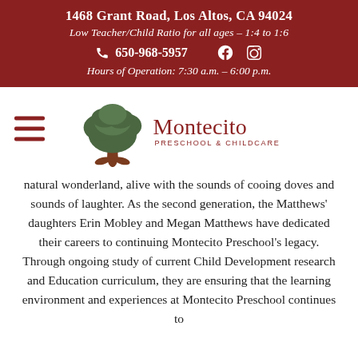1468 Grant Road, Los Altos, CA 94024
Low Teacher/Child Ratio for all ages – 1:4 to 1:6
☎ 650-968-5957  [Facebook] [Instagram]
Hours of Operation: 7:30 a.m. – 6:00 p.m.
[Figure (logo): Montecito Preschool & Childcare logo: a green tree above the text 'Montecito' in dark red, with 'PRESCHOOL & CHILDCARE' in smaller caps below]
natural wonderland, alive with the sounds of cooing doves and sounds of laughter. As the second generation, the Matthews' daughters Erin Mobley and Megan Matthews have dedicated their careers to continuing Montecito Preschool's legacy. Through ongoing study of current Child Development research and Education curriculum, they are ensuring that the learning environment and experiences at Montecito Preschool continues to